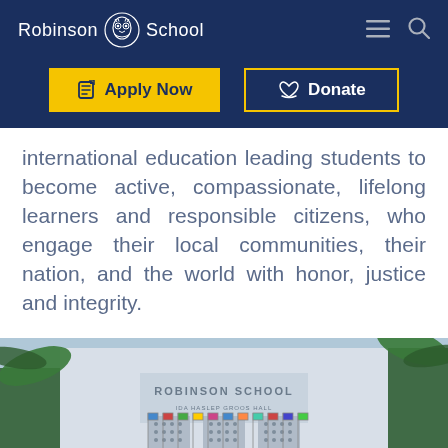Robinson School
Apply Now
Donate
international education leading students to become active, compassionate, lifelong learners and responsible citizens, who engage their local communities, their nation, and the world with honor, justice and integrity.
[Figure (photo): Exterior photograph of Robinson School building with 'ROBINSON SCHOOL IDA HASLEP GROOS HALL' text on facade, palm trees in foreground, and flags lining the entrance.]